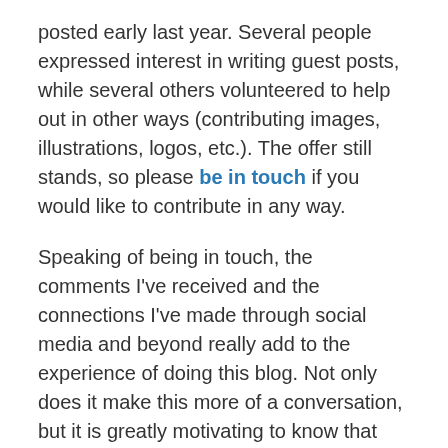posted early last year. Several people expressed interest in writing guest posts, while several others volunteered to help out in other ways (contributing images, illustrations, logos, etc.). The offer still stands, so please be in touch if you would like to contribute in any way.
Speaking of being in touch, the comments I've received and the connections I've made through social media and beyond really add to the experience of doing this blog. Not only does it make this more of a conversation, but it is greatly motivating to know that people find this to be a valuable and entertaining resource. Thank you to all who have reached out. And thanks to silent observers as well. Let's stay in touch.
As I have done in the past, I am including a list of some of the posts from this past year, mainly those that are part of